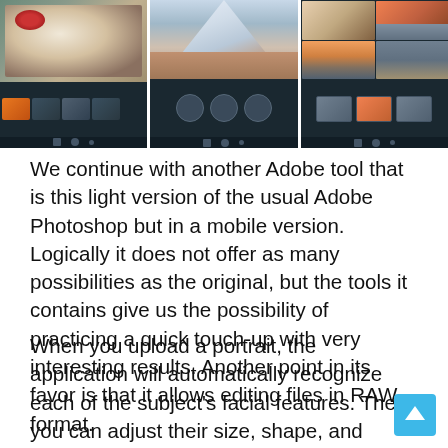[Figure (screenshot): Three smartphone screens showing Adobe Photoshop mobile app with different photo editing scenarios: food/strawberry photo, mountain landscape, and a grid of landscape photos.]
We continue with another Adobe tool that is this light version of the usual Adobe Photoshop but in a mobile version. Logically it does not offer as many possibilities as the original, but the tools it contains give us the possibility of practicing a quick touch-up with very interesting results. Another point in its favor is that it allows editing files in RAW format.
When you upload a portrait, the application will automatically recognize each of the subject's facial features. Then you can adjust their size, shape, and position. If you are a Creative Cloud user, you can